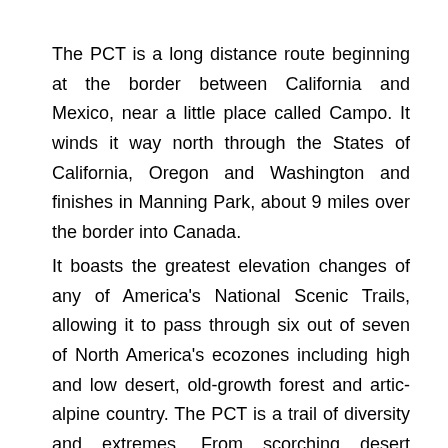The PCT is a long distance route beginning at the border between California and Mexico, near a little place called Campo. It winds it way north through the States of California, Oregon and Washington and finishes in Manning Park, about 9 miles over the border into Canada.
It boasts the greatest elevation changes of any of America's National Scenic Trails, allowing it to pass through six out of seven of North America's ecozones including high and low desert, old-growth forest and artic-alpine country. The PCT is a trail of diversity and extremes. From scorching desert valleys in Southern California to rain forests in the Pacific Northwest, the